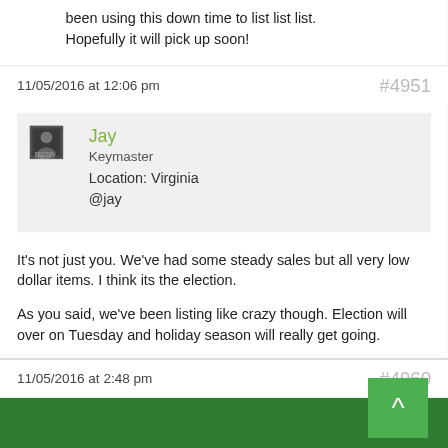been using this down time to list list list. Hopefully it will pick up soon!
11/05/2016 at 12:06 pm
#4951
Jay
Keymaster
Location: Virginia
@jay
It's not just you. We've had some steady sales but all very low dollar items. I think its the election.

As you said, we've been listing like crazy though. Election will over on Tuesday and holiday season will really get going.
11/05/2016 at 2:48 pm
#4960